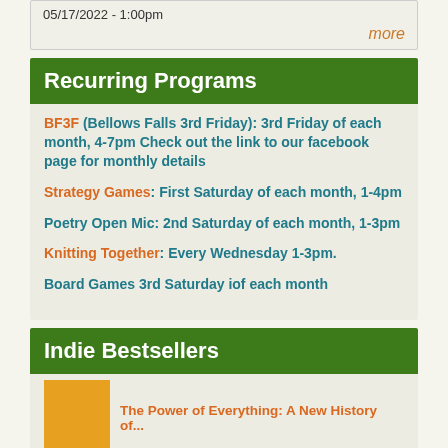05/17/2022 - 1:00pm
more
Recurring Programs
BF3F (Bellows Falls 3rd Friday): 3rd Friday of each month, 4-7pm Check out the link to our facebook page for monthly details
Strategy Games: First Saturday of each month, 1-4pm
Poetry Open Mic: 2nd Saturday of each month, 1-3pm
Knitting Together: Every Wednesday 1-3pm.
Board Games 3rd Saturday iof each month
Indie Bestsellers
The Power of Everything: A New History of...